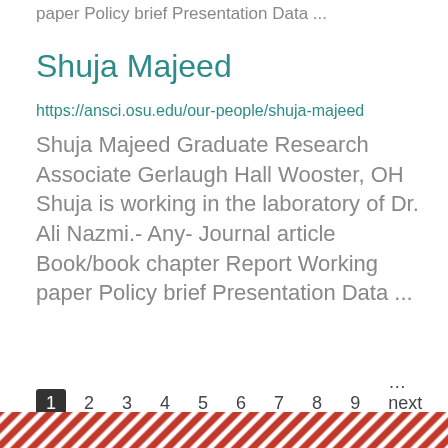paper Policy brief Presentation Data ...
Shuja Majeed
https://ansci.osu.edu/our-people/shuja-majeed
Shuja Majeed Graduate Research Associate Gerlaugh Hall Wooster, OH Shuja is working in the laboratory of Dr. Ali Nazmi.- Any- Journal article Book/book chapter Report Working paper Policy brief Presentation Data ...
1 2 3 4 5 6 7 8 9 …next › last »